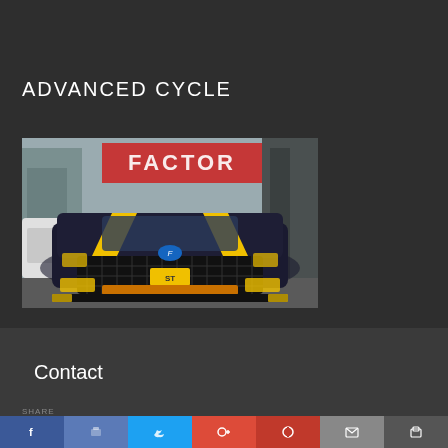ADVANCED CYCLE
[Figure (photo): Front view of a black Ford Focus ST with yellow accent stripes and trim, parked in front of a shop with 'FACTOR' sign visible in the background]
APRIL 15, 2020 | 2:54 PM | NO COMMENTS
DON'T LOSE FOCUS!
Contact
SHARE